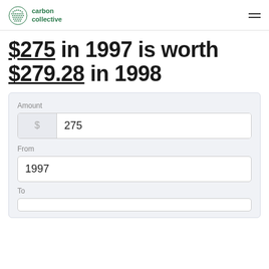carbon collective
$275 in 1997 is worth $279.28 in 1998
Amount
$ 275
From
1997
To